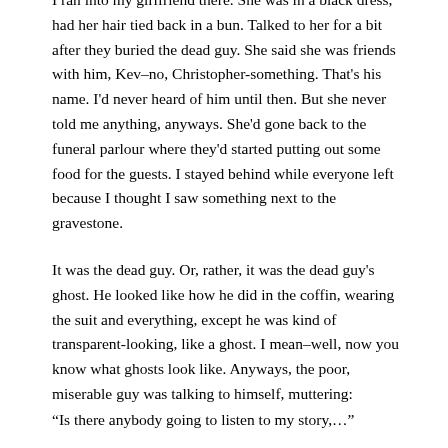I ran into my girlfriend there. She was in a black dress, had her hair tied back in a bun. Talked to her for a bit after they buried the dead guy. She said she was friends with him, Kev–no, Christopher-something. That's his name. I'd never heard of him until then. But she never told me anything, anyways. She'd gone back to the funeral parlour where they'd started putting out some food for the guests. I stayed behind while everyone left because I thought I saw something next to the gravestone.
It was the dead guy. Or, rather, it was the dead guy's ghost. He looked like how he did in the coffin, wearing the suit and everything, except he was kind of transparent-looking, like a ghost. I mean–well, now you know what ghosts look like. Anyways, the poor, miserable guy was talking to himself, muttering:
“Is there anybody going to listen to my story,…”